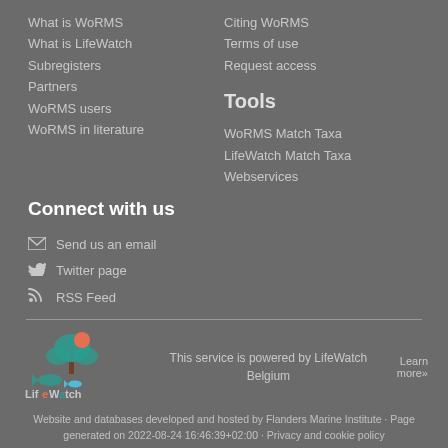What is WoRMS
What is LifeWatch
Subregisters
Partners
WoRMS users
WoRMS in literature
Citing WoRMS
Terms of use
Request access
Tools
WoRMS Match Taxa
LifeWatch Match Taxa
Webservices
Connect with us
Send us an email
Twitter page
RSS Feed
[Figure (logo): LifeWatch Belgium logo with colorful tree and fish illustration]
This service is powered by LifeWatch Belgium
Learn more»
Website and databases developed and hosted by Flanders Marine Institute · Page generated on 2022-08-24 16:46:39+02:00 · Privacy and cookie policy